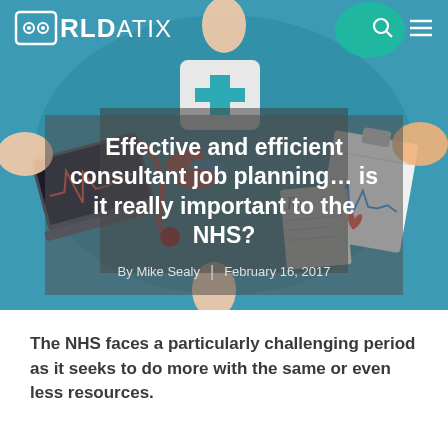[Figure (illustration): Hero banner with medical illustration showing hands around medical items (laptop, stethoscope, pills, clipboard with ECG, first aid kit) on teal background. WorldDatix logo and navigation icons in top bar.]
Effective and efficient consultant job planning… is it really important to the NHS?
By Mike Sealy  |  February 16, 2017
The NHS faces a particularly challenging period as it seeks to do more with the same or even less resources.